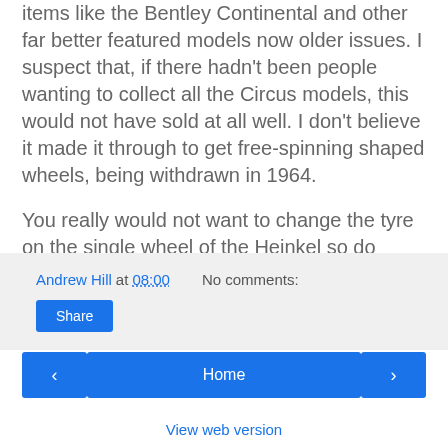items like the Bentley Continental and other far better featured models now older issues. I suspect that, if there hadn't been people wanting to collect all the Circus models, this would not have sold at all well. I don't believe it made it through to get free-spinning shaped wheels, being withdrawn in 1964.
You really would not want to change the tyre on the single wheel of the Heinkel so do watch out when buying this model!
Andrew Hill at 08:00   No comments:
Share
Home
View web version